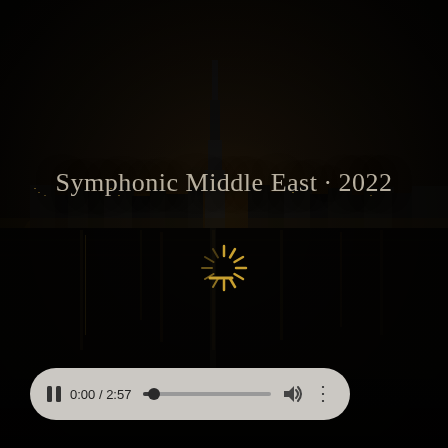[Figure (screenshot): Dark night cityscape of Dubai with skyline including tall skyscraper (Burj Khalifa), city lights reflecting on water, very dark/moody atmosphere]
Symphonic Middle East · 2022
[Figure (other): Loading spinner / sunburst icon in golden/yellow color, indicating video is loading]
[Figure (screenshot): Video player media controls bar: pause button, time display '0:00 / 2:57', progress bar (at beginning), volume icon, more options (three dots)]